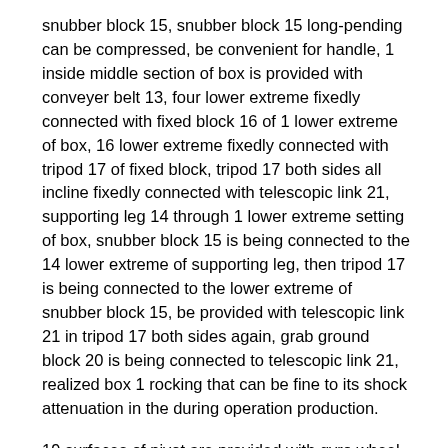snubber block 15, snubber block 15 long-pending can be compressed, be convenient for handle, 1 inside middle section of box is provided with conveyer belt 13, four lower extreme fixedly connected with fixed block 16 of 1 lower extreme of box, 16 lower extreme fixedly connected with tripod 17 of fixed block, tripod 17 both sides all incline fixedly connected with telescopic link 21, supporting leg 14 through 1 lower extreme setting of box, snubber block 15 is being connected to the 14 lower extreme of supporting leg, then tripod 17 is being connected to the lower extreme of snubber block 15, be provided with telescopic link 21 in tripod 17 both sides again, grab ground block 20 is being connected to telescopic link 21, realized box 1 rocking that can be fine to its shock attenuation in the during operation production.
19 surfaces of pivot are provided with gyro wheel 18, 1 left end fixedly connected with rubbish export 22 of box, 3 lower extreme fixedly connected with clamp plates 2 of connecting rod, stir garrulous after for rubbish pressurize, the lower extreme right side opening part fixedly connected with guide port 12 of drive storehouse 4, the right-hand member of actuating lever 10 rotates through fixing bearing